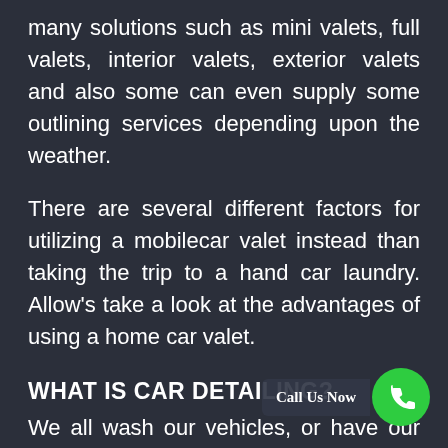many solutions such as mini valets, full valets, interior valets, exterior valets and also some can even supply some outlining services depending upon the weather.
There are several different factors for utilizing a mobilecar valet instead than taking the trip to a hand car laundry. Allow's take a look at the advantages of using a home car valet.
WHAT IS CAR DETAILING?
We all wash our vehicles, or have our autos cleaned. Whether it's since it's illegal to drive about in a car where your number plates that gross you're not able to review registration number, or because you really care